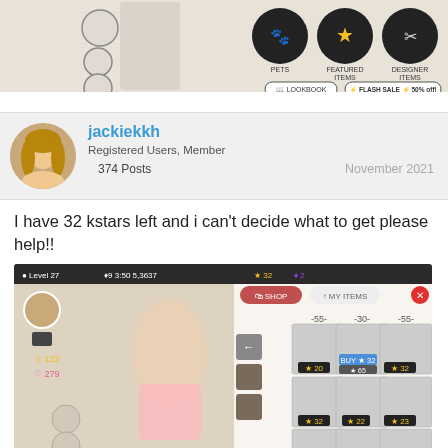[Figure (screenshot): Mobile game app banner showing a character dress-up interface with Pets, Featured Items, Designer Items categories, Lookbook and Flash Sale 50% off buttons]
jackiekkh
Registered Users, Member
374 Posts
November 2021
I have 32 kstars left and i can't decide what to get please help!!
[Figure (screenshot): Mobile game screenshot showing character customization shop with items priced in kstars (32, 55, 30, etc.), character at Level 27 with 32 kstars]